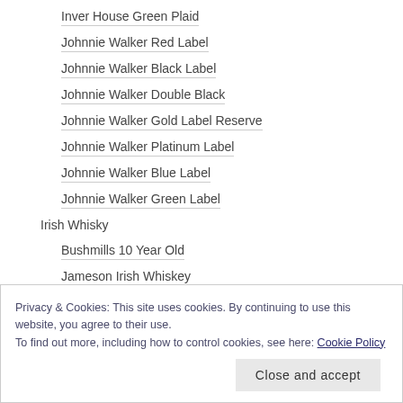Inver House Green Plaid
Johnnie Walker Red Label
Johnnie Walker Black Label
Johnnie Walker Double Black
Johnnie Walker Gold Label Reserve
Johnnie Walker Platinum Label
Johnnie Walker Blue Label
Johnnie Walker Green Label
Irish Whisky
Bushmills 10 Year Old
Jameson Irish Whiskey
Privacy & Cookies: This site uses cookies. By continuing to use this website, you agree to their use.
To find out more, including how to control cookies, see here: Cookie Policy
Close and accept